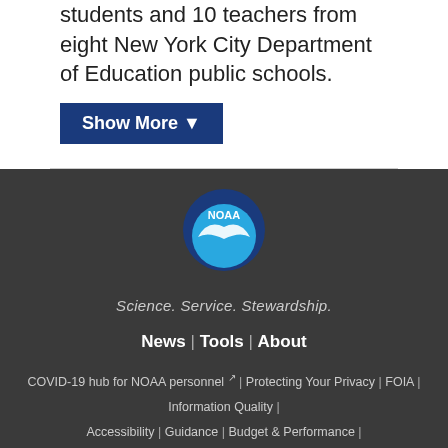students and 10 teachers from eight New York City Department of Education public schools.
Show More ▼
[Figure (logo): NOAA circular logo with bird and blue/white design]
Science. Service. Stewardship.
News | Tools | About
COVID-19 hub for NOAA personnel | Protecting Your Privacy | FOIA | Information Quality | Accessibility | Guidance | Budget & Performance | Disclaimer | EEO | No-Fear Act | USA.gov | Ready.gov | Employee Check-In | Staff Directory |